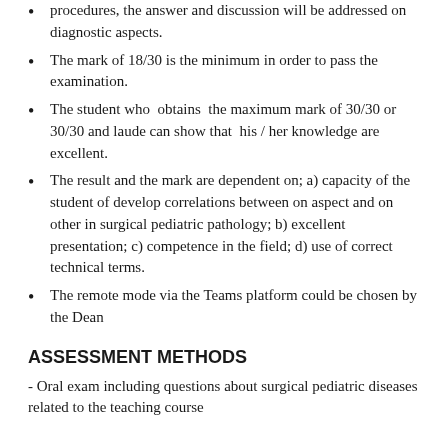procedures, the answer and discussion will be addressed on diagnostic aspects.
The mark of 18/30 is the minimum in order to pass the examination.
The student who obtains the maximum mark of 30/30 or 30/30 and laude can show that his / her knowledge are excellent.
The result and the mark are dependent on; a) capacity of the student of develop correlations between on aspect and on other in surgical pediatric pathology; b) excellent presentation; c) competence in the field; d) use of correct technical terms.
The remote mode via the Teams platform could be chosen by the Dean
ASSESSMENT METHODS
- Oral exam including questions about surgical pediatric diseases related to the teaching course